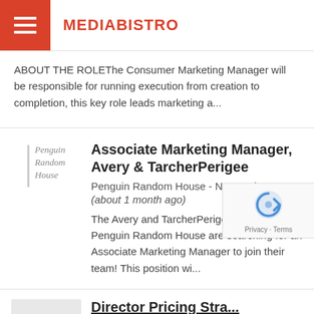MEDIABISTRO
ABOUT THE ROLEThe Consumer Marketing Manager will be responsible for running execution from creation to completion, this key role leads marketing a...
[Figure (logo): Penguin Random House logo with vertical bar and italic serif text]
Associate Marketing Manager, Avery & TarcherPerigee
Penguin Random House - New York, NY
(about 1 month ago)
The Avery and TarcherPerigee imprints at Penguin Random House are searching for an Associate Marketing Manager to join their team! This position wi...
Director Pricing Stra...